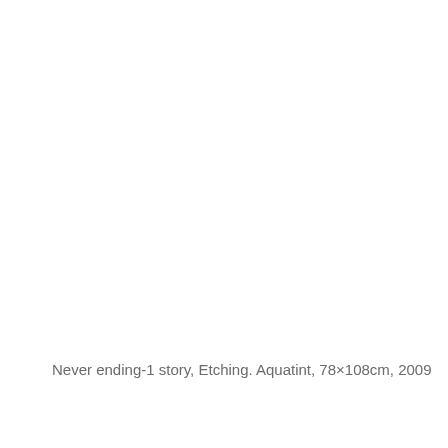Never ending-1 story, Etching. Aquatint, 78×108cm, 2009